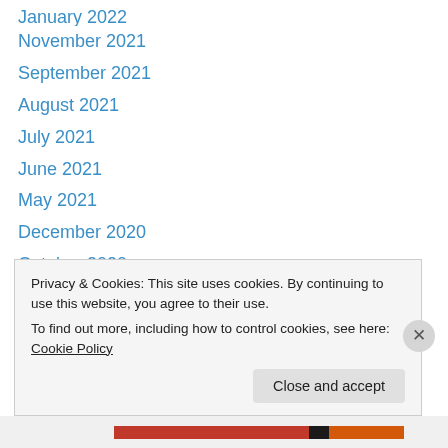January 2022
November 2021
September 2021
August 2021
July 2021
June 2021
May 2021
December 2020
October 2020
September 2020
August 2020
July 2020
March 2020
February 2020
Privacy & Cookies: This site uses cookies. By continuing to use this website, you agree to their use. To find out more, including how to control cookies, see here: Cookie Policy